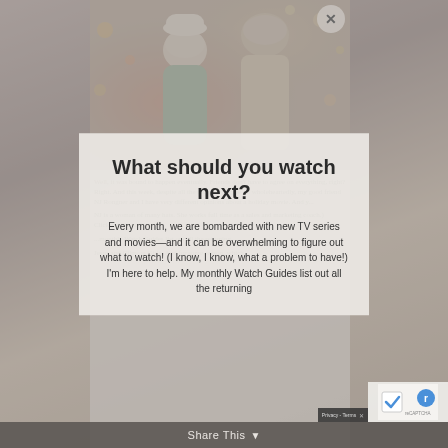[Figure (photo): A couple in winter/holiday clothing with Christmas lights in background, photo partially visible behind overlays]
Well, it was bound to happen eventually. Friends don't have to agree on everything, right? Right. And this week, despite all the things we agree on wholeheartedly, my good friend NJ Rongner and I have very different opinions about a holiday movie. And y... NJ is a woman of many hats. She works full time as a sales and marketing coach.) Clickfunnels and is... monthly Watch Guides list out all the returning... Jesus and Gilmore Girls. And for some reason, which
What should you watch next?
Every month, we are bombarded with new TV series and movies—and it can be overwhelming to figure out what to watch! (I know, I know, what a problem to have!) I'm here to help. My monthly Watch Guides list out all the returning
Share This